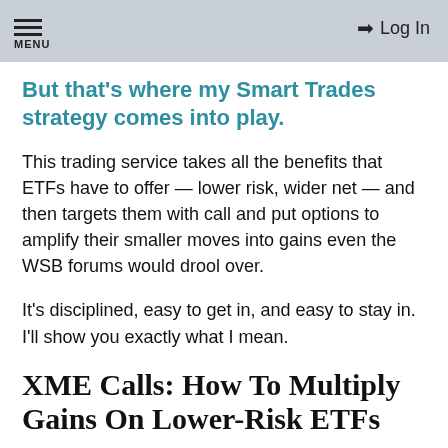MENU | Log In
But that's where my Smart Trades strategy comes into play.
This trading service takes all the benefits that ETFs have to offer — lower risk, wider net — and then targets them with call and put options to amplify their smaller moves into gains even the WSB forums would drool over.
It's disciplined, easy to get in, and easy to stay in. I'll show you exactly what I mean.
XME Calls: How To Multiply Gains On Lower-Risk ETFs